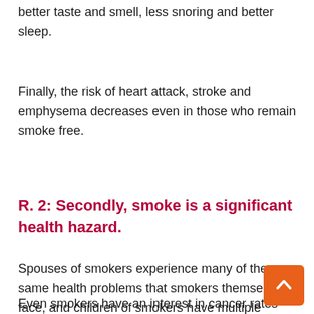better taste and smell, less snoring and better sleep.
Finally, the risk of heart attack, stroke and emphysema decreases even in those who remain smoke free.
R. 2: Secondly, smoke is a significant health hazard.
Spouses of smokers experience many of the same health problems that smokers themselves face, and children of smokers have multiple chills and ear infections.
Even smokers have an interest in cancer rates